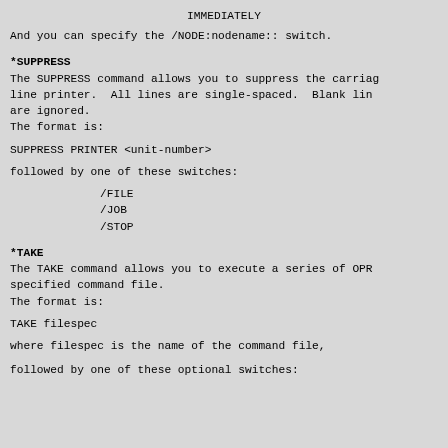IMMEDIATELY
And you can specify the /NODE:nodename:: switch.
*SUPPRESS
The SUPPRESS command allows you to suppress the carriage line printer.  All lines are single-spaced.  Blank lines are ignored.
The format is:
SUPPRESS PRINTER <unit-number>
followed by one of these switches:
/FILE
/JOB
/STOP
*TAKE
The TAKE command allows you to execute a series of OPR specified command file.
The format is:
TAKE filespec
where filespec is the name of the command file,
followed by one of these optional switches: